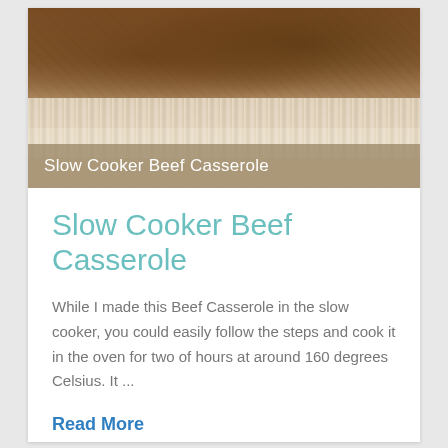[Figure (photo): Photo of Slow Cooker Beef Casserole served over white rice, with a tan/brown overlay banner at the bottom showing the dish name]
Slow Cooker Beef Casserole
Slow Cooker Beef Casserole
While I made this Beef Casserole in the slow cooker, you could easily follow the steps and cook it in the oven for two of hours at around 160 degrees Celsius. It ...
Read More